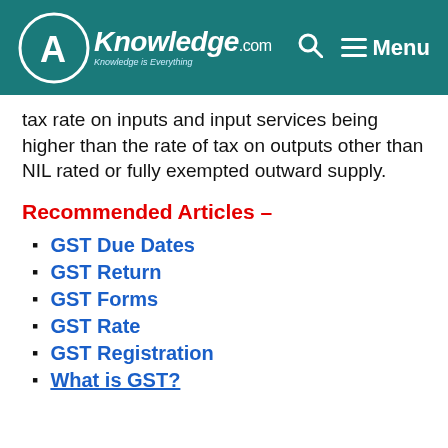CA Knowledge.com | Menu
tax rate on inputs and input services being higher than the rate of tax on outputs other than NIL rated or fully exempted outward supply.
Recommended Articles –
GST Due Dates
GST Return
GST Forms
GST Rate
GST Registration
What is GST?